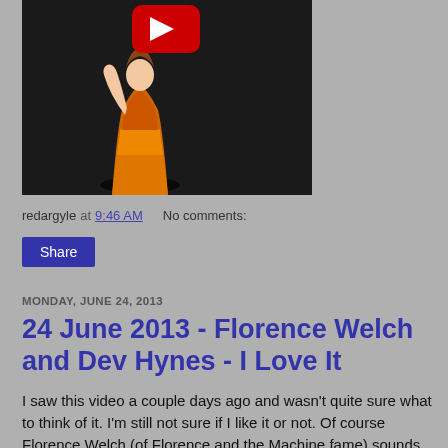[Figure (screenshot): Video thumbnail showing a performer in an orange sequined dress on a dark stage, with a YouTube play button overlay (red and white) in the upper center.]
redargyle at 9:46 AM    No comments:
Share
MONDAY, JUNE 24, 2013
24 June 2013 - Florence Welch and Dev Hynes - I Love It
I saw this video a couple days ago and wasn't quite sure what to think of it. I'm still not sure if I like it or not. Of course Florence Welch (of Florence and the Machine fame) sounds tremendous, if not a little forced at times. But then again, I can't help but think that this sleepy cover with Dev Hynes (AKA Lightspeed Champion and Blood Orange) could have used a bit more oomph. It's certainly a far cry from the